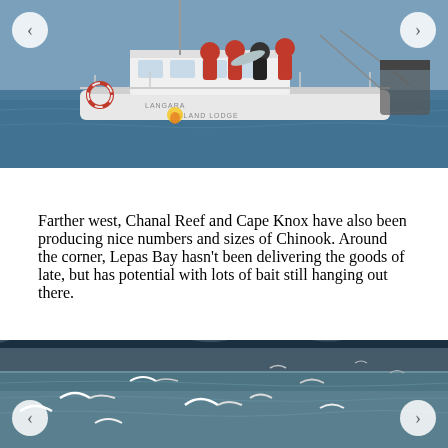[Figure (photo): People in red and black jackets on a white fishing boat named 'Langara Island Lodge', holding a large salmon, on blue water.]
Farther west, Chanal Reef and Cape Knox have also been producing nice numbers and sizes of Chinook. Around the corner, Lepas Bay hasn't been delivering the goods of late, but has potential with lots of bait still hanging out there.
[Figure (photo): Flock of seagulls flying low over calm water with dark forested hills in the background.]